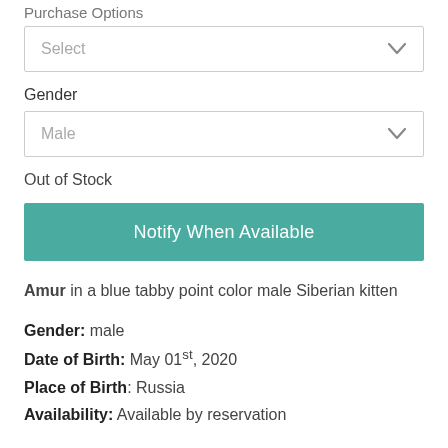Purchase Options
[Figure (screenshot): Dropdown select box with 'Select' placeholder and chevron icon]
Gender
[Figure (screenshot): Dropdown select box with 'Male' selected and chevron icon]
Out of Stock
[Figure (screenshot): Teal button labeled 'Notify When Available']
Amur in a blue tabby point color male Siberian kitten
Gender: male
Date of Birth: May 01st, 2020
Place of Birth: Russia
Availability: Available by reservation